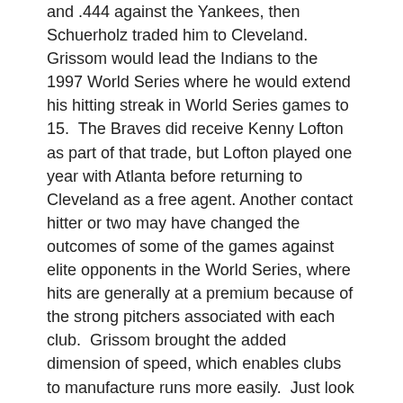and .444 against the Yankees, then Schuerholz traded him to Cleveland. Grissom would lead the Indians to the 1997 World Series where he would extend his hitting streak in World Series games to 15.  The Braves did receive Kenny Lofton as part of that trade, but Lofton played one year with Atlanta before returning to Cleveland as a free agent. Another contact hitter or two may have changed the outcomes of some of the games against elite opponents in the World Series, where hits are generally at a premium because of the strong pitchers associated with each club.  Grissom brought the added dimension of speed, which enables clubs to manufacture runs more easily.  Just look at what Kenny Lofton did to the Braves in 1995 and may have done with Atlanta Braves if the Braves had elected to re-sign him after the 1997 season.
So had the Braves acquired another power pitcher or two or another contact hitter or two or someone besides Grissom who could manufacture a run with his bat and legs, would that have possibly allowed the Braves to win more of those one-run games and change the total of their World Series titles?  Maybe,